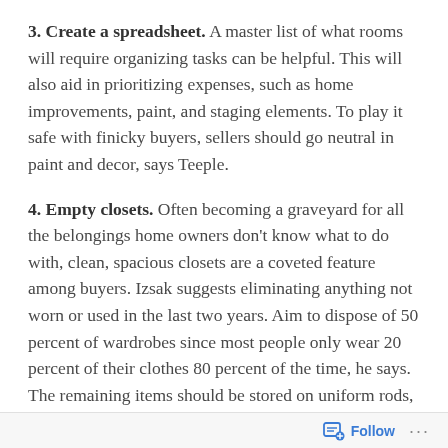3. Create a spreadsheet. A master list of what rooms will require organizing tasks can be helpful. This will also aid in prioritizing expenses, such as home improvements, paint, and staging elements. To play it safe with finicky buyers, sellers should go neutral in paint and decor, says Teeple.
4. Empty closets. Often becoming a graveyard for all the belongings home owners don't know what to do with, clean, spacious closets are a coveted feature among buyers. Izsak suggests eliminating anything not worn or used in the last two years. Aim to dispose of 50 percent of wardrobes since most people only wear 20 percent of their clothes 80 percent of the time, he says. The remaining items should be stored on uniform rods, or in labeled, see-through bins, says Teeple.
5. Clear off counters and bookcases. Get rid of books
Follow ···